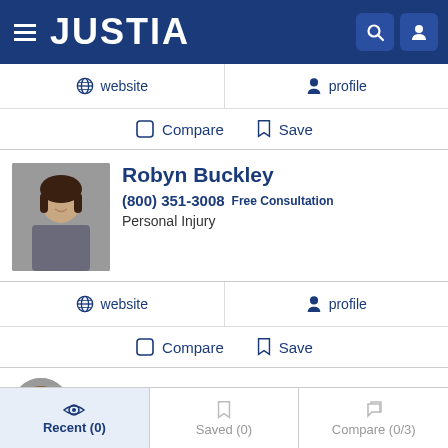JUSTIA
website   profile
Compare   Save
Robyn Buckley
(800) 351-3008  Free Consultation
Personal Injury
website   profile
Compare   Save
Brian Ricci
Recent (0)   Saved (0)   Compare (0/3)